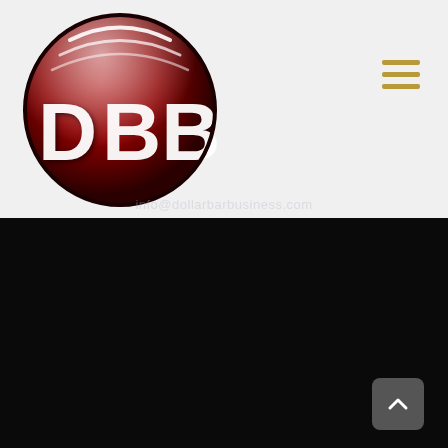[Figure (logo): DBB circular logo — dark red sphere with white DBB lettering and reflective highlights on top]
info@dollarbarbusiness.com
MORE INFORMATION
Contact Us
Careers
Shop Online
Services & Support
eInfo Log In